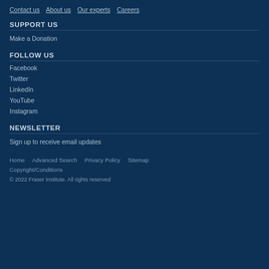Contact us  About us  Our experts  Careers
SUPPORT US
Make a Donation
FOLLOW US
Facebook
Twitter
LinkedIn
YouTube
Instagram
NEWSLETTER
Sign up to receive email updates
Home  Advanced Search  Privacy Policy  Sitemap  Copyright/Conditions
© 2022 Fraser Institute. All rights reserved